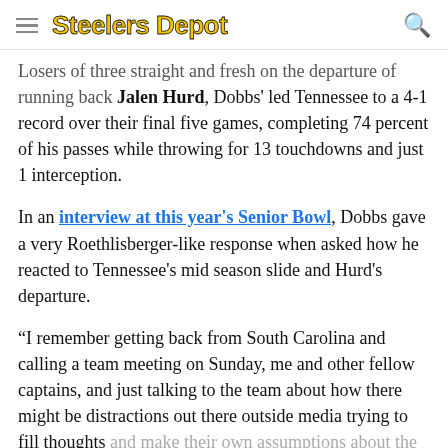Steelers Depot
...Losers of three straight and fresh on the departure of running back Jalen Hurd, Dobbs' led Tennessee to a 4-1 record over their final five games, completing 74 percent of his passes while throwing for 13 touchdowns and just 1 interception.
In an interview at this year's Senior Bowl, Dobbs gave a very Roethlisberger-like response when asked how he reacted to Tennessee's mid season slide and Hurd's departure.
“I remember getting back from South Carolina and calling a team meeting on Sunday, me and other fellow captains, and just talking to the team about how there might be distractions out there outside media trying to fill thoughts and make their own assumptions about the team but the only opinions that matter are the guys in this room and we